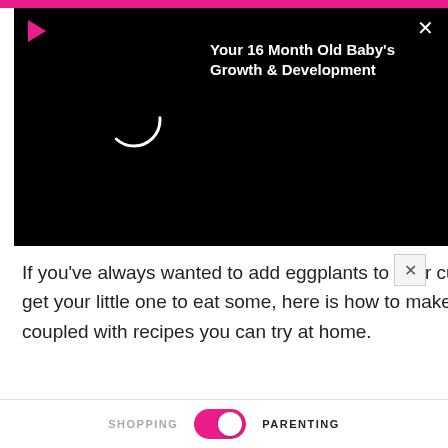[Figure (screenshot): Black video notification card overlay with pink play button icon, white X close button, and bold white title text 'Your 16 Month Old Baby's Growth & Development' with a white circular loading spinner]
If you've always wanted to add eggplants to your culinary repertoire or get your little one to eat some, here is how to make eggplant baby food coupled with recipes you can try at home.
ADVERTISEMENT
1. Eggplant Puree
[Figure (photo): Partial photo showing purple-striped eggplants and green herbs/leaves on a light background]
SHOPPING   PARENTING